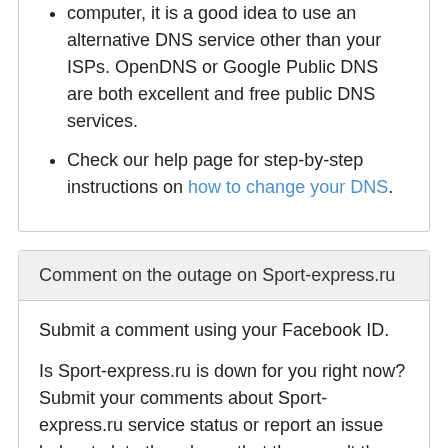computer, it is a good idea to use an alternative DNS service other than your ISPs. OpenDNS or Google Public DNS are both excellent and free public DNS services.
Check our help page for step-by-step instructions on how to change your DNS.
Comment on the outage on Sport-express.ru
Submit a comment using your Facebook ID.
Is Sport-express.ru is down for you right now? Submit your comments about Sport-express.ru service status or report an issue below to let others know that they aren't the only ones having trouble. Please note that your country, service provider and browser information will be displayed next to your